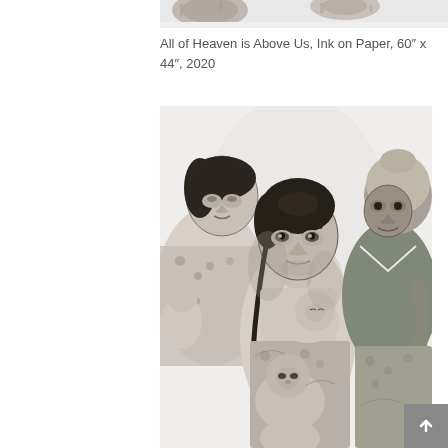[Figure (illustration): Partial top edge of artwork showing grayscale ink drawing of figures, cropped at top of page]
All of Heaven is Above Us, Ink on Paper, 60” x 44”, 2020
[Figure (illustration): Ink on paper artwork in black and white showing several women and children huddled together. Central figure is a young woman looking upward holding children. Other figures include a woman with a head wrap on the right and another woman on the left. The style is realistic ink drawing.]